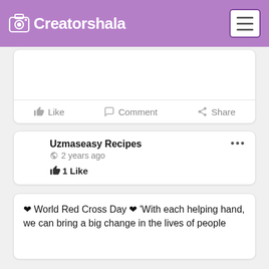Creatorshala
Like  Comment  Share
Uzmaseasy Recipes
2 years ago
1 Like
❤ World Red Cross Day ❤ 'With each helping hand, we can bring a big change in the lives of people